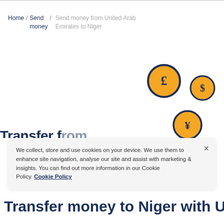Home / Send money / Send money from United Arab Emirates to Niger
[Figure (illustration): Three currency coin icons (£, $, ¥) on white background, arranged in a scattered pattern. The pound coin is the largest, dollar coin is smaller and to the right, yen coin is medium-sized and below.]
We collect, store and use cookies on your device. We use them to enhance site navigation, analyse our site and assist with marketing & insights. You can find out more information in our Cookie Policy. Cookie Policy
Transfer money to Niger with UAE